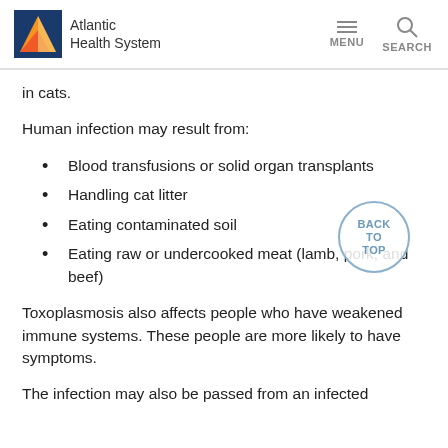Atlantic Health System
in cats.
Human infection may result from:
Blood transfusions or solid organ transplants
Handling cat litter
Eating contaminated soil
Eating raw or undercooked meat (lamb, pork, and beef)
Toxoplasmosis also affects people who have weakened immune systems. These people are more likely to have symptoms.
The infection may also be passed from an infected